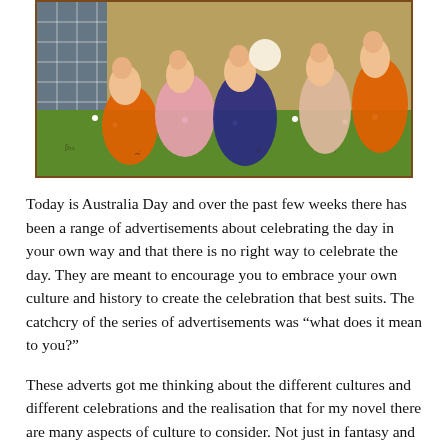[Figure (illustration): Medieval illuminated manuscript illustration showing several robed figures in orange, blue, and pink garments sitting or crouching on a green ground with small flowers, against a decorative background with a plaid/grid pattern on the left side.]
Today is Australia Day and over the past few weeks there has been a range of advertisements about celebrating the day in your own way and that there is no right way to celebrate the day. They are meant to encourage you to embrace your own culture and history to create the celebration that best suits. The catchcry of the series of advertisements was “what does it mean to you?”
These adverts got me thinking about the different cultures and different celebrations and the realisation that for my novel there are many aspects of culture to consider. Not just in fantasy and science fiction writing but for any world you create, culture will have an impact.